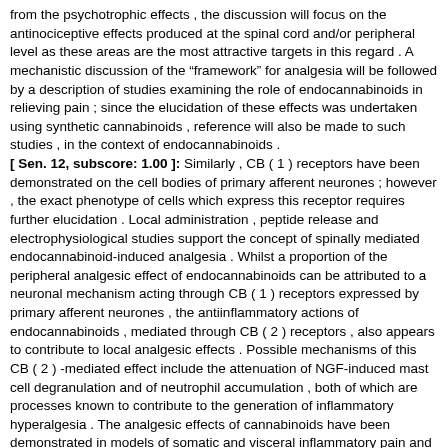from the psychotrophic effects , the discussion will focus on the antinociceptive effects produced at the spinal cord and/or peripheral level as these areas are the most attractive targets in this regard . A mechanistic discussion of the "framework" for analgesia will be followed by a description of studies examining the role of endocannabinoids in relieving pain ; since the elucidation of these effects was undertaken using synthetic cannabinoids , reference will also be made to such studies , in the context of endocannabinoids . [ Sen. 12, subscore: 1.00 ]: Similarly , CB ( 1 ) receptors have been demonstrated on the cell bodies of primary afferent neurones ; however , the exact phenotype of cells which express this receptor requires further elucidation . Local administration , peptide release and electrophysiological studies support the concept of spinally mediated endocannabinoid-induced analgesia . Whilst a proportion of the peripheral analgesic effect of endocannabinoids can be attributed to a neuronal mechanism acting through CB ( 1 ) receptors expressed by primary afferent neurones , the antiinflammatory actions of endocannabinoids , mediated through CB ( 2 ) receptors , also appears to contribute to local analgesic effects . Possible mechanisms of this CB ( 2 ) -mediated effect include the attenuation of NGF-induced mast cell degranulation and of neutrophil accumulation , both of which are processes known to contribute to the generation of inflammatory hyperalgesia . The analgesic effects of cannabinoids have been demonstrated in models of somatic and visceral inflammatory pain and of neuropathic pain , the latter being an important area of therapeutic need . Analgesia is one of the principal therapeutic targets of cannabinoids . This review will discuss the analgesic effects of endocannabinoids in relation to two areas of therapeutic need , persistent inflammation and neuropathic pain . The more general aspects of the role of cannabinoids , endogenous and exogenous , in